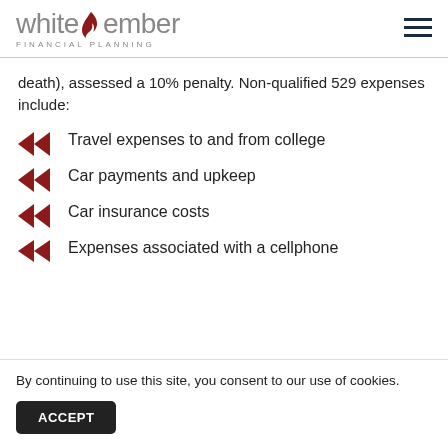white ember FINANCIAL PLANNING
death), assessed a 10% penalty. Non-qualified 529 expenses include:
Travel expenses to and from college
Car payments and upkeep
Car insurance costs
Expenses associated with a cellphone
By continuing to use this site, you consent to our use of cookies.